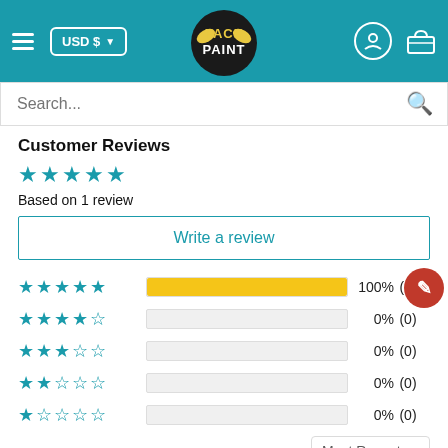[Figure (screenshot): Website header with teal background: hamburger menu, USD$ currency selector, FacePaint logo, user account icon, basket icon]
[Figure (screenshot): Search bar with placeholder text 'Search...' and magnifying glass icon]
Customer Reviews
[Figure (infographic): 5 filled teal stars rating display]
Based on 1 review
Write a review
| Stars | Bar | Percent | Count |
| --- | --- | --- | --- |
| ★★★★★ | 100% | 100% | (1) |
| ★★★★☆ |  | 0% | (0) |
| ★★★☆☆ |  | 0% | (0) |
| ★★☆☆☆ |  | 0% | (0) |
| ★☆☆☆☆ |  | 0% | (0) |
Most Recent
03/05/2019